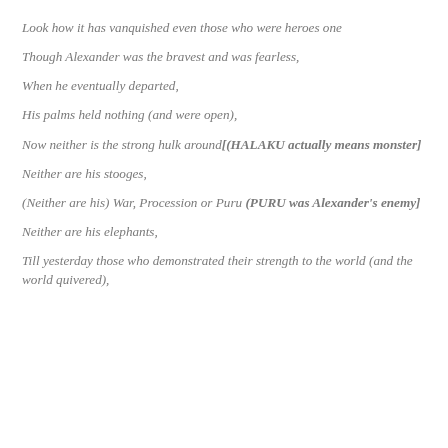Look how it has vanquished even those who were heroes one
Though Alexander was the bravest and was fearless,
When he eventually departed,
His palms held nothing (and were open),
Now neither is the strong hulk around[(HALAKU actually means monster]
Neither are his stooges,
(Neither are his) War, Procession or Puru (PURU was Alexander's enemy]
Neither are his elephants,
Till yesterday those who demonstrated their strength to the world (and the world quivered),